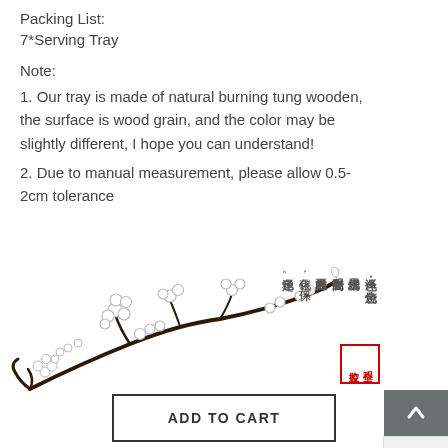Packing List:
7*Serving Tray
Note:
1. Our tray is made of natural burning tung wooden, the surface is wood grain, and the color may be slightly different, I hope you can understand!
2. Due to manual measurement, please allow 0.5-2cm tolerance
[Figure (illustration): Decorative illustration of white plum blossom branch with Chinese text about wood burning technique and a red square seal stamp]
ADD TO CART